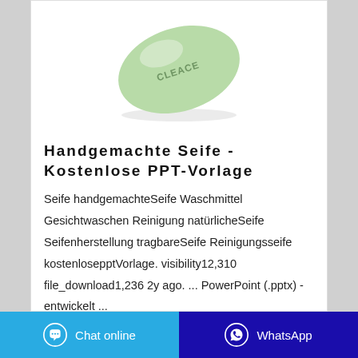[Figure (photo): A green oval bar of soap with 'CLEACE' embossed on it, photographed on a white background.]
Handgemachte Seife - Kostenlose PPT-Vorlage
Seife handgemachteSeife Waschmittel Gesichtwaschen Reinigung natürlicheSeife Seifenherstellung tragbareSeife Reinigungsseife kostenlosepptVorlage. visibility12,310 file_download1,236 2y ago. ... PowerPoint (.pptx) - entwickelt ...
Chat online   WhatsApp